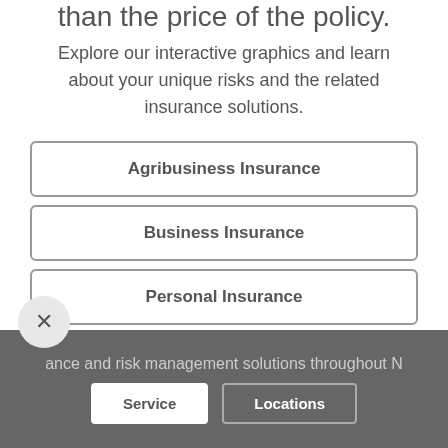than the price of the policy.
Explore our interactive graphics and learn about your unique risks and the related insurance solutions.
Agribusiness Insurance
Business Insurance
Personal Insurance
Benefits
ance and risk management solutions throughout N
Service
Locations